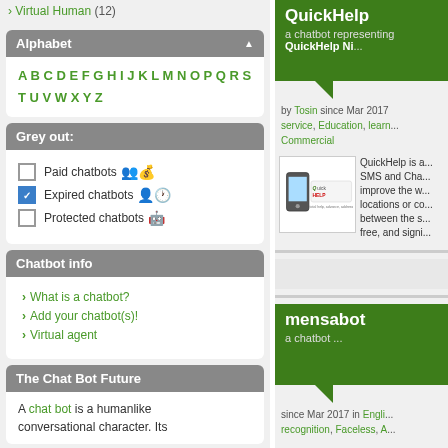› Virtual Human (12)
Alphabet
A B C D E F G H I J K L M N O P Q R S T U V W X Y Z
Grey out:
☐ Paid chatbots
☑ Expired chatbots
☐ Protected chatbots
Chatbot info
› What is a chatbot?
› Add your chatbot(s)!
› Virtual agent
The Chat Bot Future
A chat bot is a humanlike conversational character. Its
QuickHelp
a chatbot representing QuickHelp Ni...
by Tosin since Mar 2017 service, Education, learn... Commercial
[Figure (logo): QuickHelp logo with mobile phone icon and stylized text]
QuickHelp is a... SMS and Cha... improve the w... locations or co... between the s... free, and signi...
mensabot
a chatbot ...
since Mar 2017 in Engli... recognition, Faceless, A...